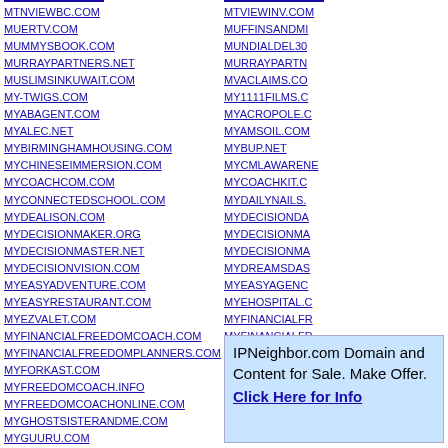MTNVIEWBC.COM
MUERTV.COM
MUMMYSBOOK.COM
MURRAYPARTNERS.NET
MUSLIMSINKUWAIT.COM
MY-TWIGS.COM
MYABAGENT.COM
MYALEC.NET
MYBIRMINGHAMHOUSING.COM
MYCHINESEIMMERSION.COM
MYCOACHCOM.COM
MYCONNECTEDSCHOOL.COM
MYDEALISON.COM
MYDECISIONMAKER.ORG
MYDECISIONMASTER.NET
MYDECISIONVISION.COM
MYEASYADVENTURE.COM
MYEASYRESTAURANT.COM
MYEZVALET.COM
MYFINANCIALFREEDOMCOACH.COM
MYFINANCIALFREEDOMPLANNERS.COM
MYFORKAST.COM
MYFREEDOMCOACH.INFO
MYFREEDOMCOACHONLINE.COM
MYGHOSTSISTERANDME.COM
MYGUURU.COM
MYKUDOKIT.COM
MYKUDOSKIT.COM
MTVIEWINV.COM
MUFFINSANDMI...
MUNDIALDEL30...
MURRAYPARTN...
MVACLAIMS.CO...
MY1111FILMS.C...
MYACROPOLE.C...
MYAMSOIL.COM...
MYBUP.NET
MYCMLAWARENE...
MYCOACHKIT.C...
MYDAILYNAILS....
MYDECISIONDA...
MYDECISIONMA...
MYDECISIONMA...
MYDREAMSDAS...
MYEASYAGENC...
MYEHOSPITAL.C...
MYFINANCIALFR...
MYFINANCIALFR...
MYFLORIDACHA...
MYFREEDOMAD...
MYFREEDOMCO...
IPNeighbor.com Domain and Content for Sale. Make Offer. Click Here for Info